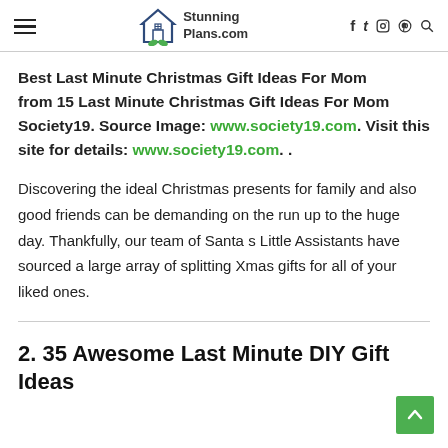StunningPlans.com
Best Last Minute Christmas Gift Ideas For Mom from 15 Last Minute Christmas Gift Ideas For Mom Society19. Source Image: www.society19.com. Visit this site for details: www.society19.com. .
Discovering the ideal Christmas presents for family and also good friends can be demanding on the run up to the huge day. Thankfully, our team of Santa s Little Assistants have sourced a large array of splitting Xmas gifts for all of your liked ones.
2. 35 Awesome Last Minute DIY Gift Ideas